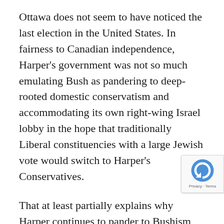Ottawa does not seem to have noticed the last election in the United States. In fairness to Canadian independence, Harper's government was not so much emulating Bush as pandering to deep-rooted domestic conservatism and accommodating its own right-wing Israel lobby in the hope that traditionally Liberal constituencies with a large Jewish vote would switch to Harper's Conservatives.
That at least partially explains why Harper continues to pander to Bushism even now Bush has gone. Harper's about-face puts Ottawa out of step with Washington, at a time when the Obama administration has taken steps to reach out to Arab and Muslim countries despite denouncements by right-wing hawks that the United States is turning anti-Israel. Dragged to the right by the unforgiving Likud-inclined lobby,